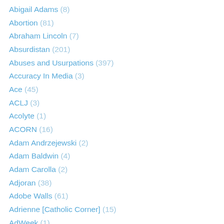Abigail Adams (8)
Abortion (81)
Abraham Lincoln (7)
Absurdistan (201)
Abuses and Usurpations (397)
Accuracy In Media (3)
Ace (45)
ACLJ (3)
Acolyte (1)
ACORN (16)
Adam Andrzejewski (2)
Adam Baldwin (4)
Adam Carolla (2)
Adjoran (38)
Adobe Walls (61)
Adrienne [Catholic Corner] (15)
AdWeek (1)
AFL-CIO (4)
Air America (1)
Al Gore (17)